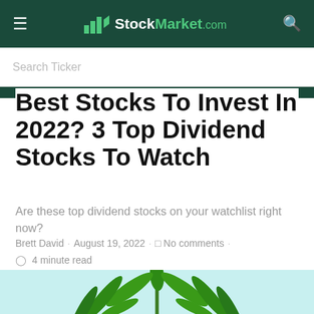StockMarket.com
Best Stocks To Invest In 2022? 3 Top Dividend Stocks To Watch
Are these top dividend stocks on your watchlist right now?
Brett David · August 19, 2022 · No comments · 4 minute read
[Figure (photo): A green cannabis plant with large leaves on a light blue background]